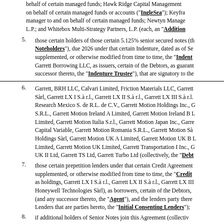behalf of certain managed funds; Hawk Ridge Capital Management on behalf of certain managed funds or accounts (“IngleSea”); Keyframe manager to and on behalf of certain managed funds; Newtyn Management L.P.; and Whitebox Multi-Strategy Partners, L.P. (each, an “Additional
5. those certain holders of those certain 5.125% senior secured notes (the “Noteholders”), due 2026 under that certain Indenture, dated as of September, supplemented, or otherwise modified from time to time, the “Indenture”), Garrett Borrowing LLC, as issuers, certain of the Debtors, as guarantors, successor thereto, the “Indenture Trustee”), that are signatory to the
6. Garrett, BRH LLC, Calvari Limited, Friction Materials LLC, Garrett Sàrl, Garrett LX I S.à r.l., Garrett LX II S.à r.l., Garrett LX III S.à r.l., Research Mexico S. de R.L. de C.V., Garrett Motion Holdings Inc., S.R.L., Garrett Motion Ireland A Limited, Garrett Motion Ireland B Limited, Garrett Motion Italia S.r.l., Garrett Motion Japan Inc., Garrett Capital Variable, Garrett Motion Romania S.R.L., Garrett Motion Sà Holdings Sàrl, Garrett Motion UK A Limited, Garrett Motion UK B Limited, Garrett Motion UK Limited, Garrett Transportation I Inc., UK II Ltd, Garrett TS Ltd, Garrett Turbo Ltd (collectively, the “Debtors”
7. those certain prepetition lenders under that certain Credit Agreement, supplemented, or otherwise modified from time to time, the “Credit Agreement”), as holdings, Garrett LX I S.à r.l., Garrett LX II S.à r.l., Garrett LX III Honeywell Technologies Sàrl), as borrowers, certain of the Debtors, (and any successor thereto, the “Agent”), and the lenders party thereto Lenders that are parties hereto, the “Initial Consenting Lenders”);
8. if additional holders of Senior Notes join this Agreement (collectively